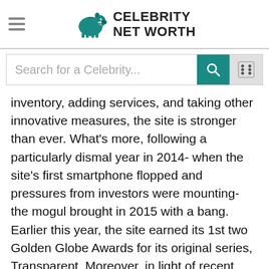Celebrity Net Worth
inventory, adding services, and taking other innovative measures, the site is stronger than ever. What's more, following a particularly dismal year in 2014- when the site's first smartphone flopped and pressures from investors were mounting- the mogul brought in 2015 with a bang. Earlier this year, the site earned its 1st two Golden Globe Awards for its original series, Transparent. Moreover, in light of recent financial events, Amazon now has a lager market cap than longtime retail-giant Wal-Mart.
[Figure (photo): Partially visible photo of a person, shown from the bottom of the page]